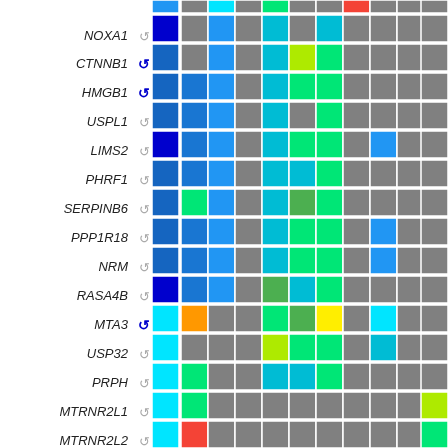[Figure (other): Heatmap grid showing gene expression data for multiple genes (NOXA1, CTNNB1, HMGB1, USPL1, LIMS2, PHRF1, SERPINB6, PPP1R18, NRM, RASA4B, MTA3, USP32, PRPH, MTRNR2L1, MTRNR2L2) across multiple conditions/samples. Each cell colored on a spectrum from dark blue through cyan, green, yellow, orange, to red indicating expression levels. Gray cells indicate missing/not significant data. Gene names are in italic. Some genes have a bold blue circular arrow icon.]